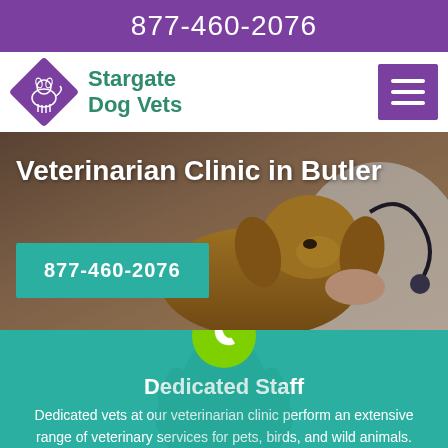877-460-2076
Stargate Dog Vets
[Figure (logo): Purple diamond-shaped logo with a cat/dog silhouette inside]
Veterinarian Clinic in Butler
877-460-2076
[Figure (photo): Background photo of a Cocker Spaniel dog being examined by a veterinarian with a stethoscope]
[Figure (illustration): Green circular phone icon button]
Dedicated Staff
Dedicated vets at our veterinarian clinic perform an extensive range of veterinary services for pets, birds, and wild animals.